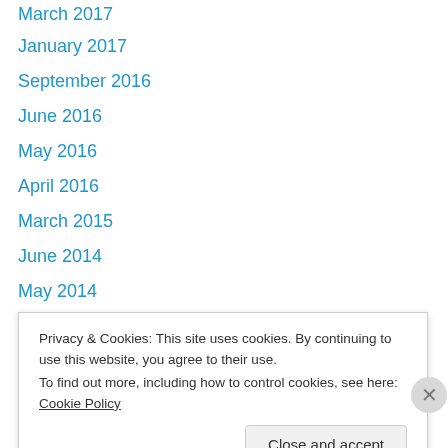March 2017
January 2017
September 2016
June 2016
May 2016
April 2016
March 2015
June 2014
May 2014
May 2013
April 2013
February 2013
January 2013
December 2012
Privacy & Cookies: This site uses cookies. By continuing to use this website, you agree to their use.
To find out more, including how to control cookies, see here: Cookie Policy